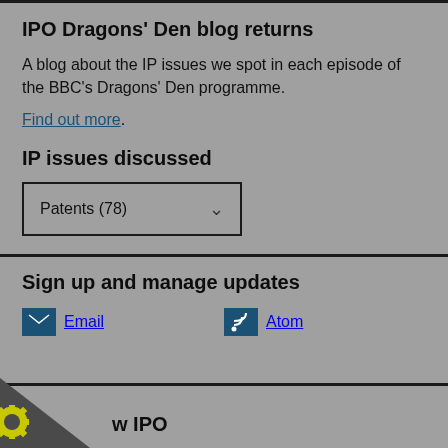IPO Dragons' Den blog returns
A blog about the IP issues we spot in each episode of the BBC's Dragons' Den programme.
Find out more.
IP issues discussed
Patents (78)
Sign up and manage updates
Email
Atom
w IPO